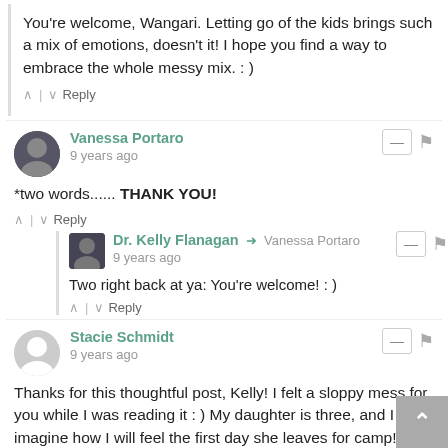You're welcome, Wangari. Letting go of the kids brings such a mix of emotions, doesn't it! I hope you find a way to embrace the whole messy mix. : )
^ | v Reply
Vanessa Portaro
9 years ago
*two words...... THANK YOU!
^ | v Reply
Dr. Kelly Flanagan → Vanessa Portaro
9 years ago
Two right back at ya: You're welcome! : )
^ | v Reply
Stacie Schmidt
9 years ago
Thanks for this thoughtful post, Kelly! I felt a sloppy mess for you while I was reading it : ) My daughter is three, and I can't imagine how I will feel the first day she leaves for camp! I pray I will be strong enough to let her do it, because you are